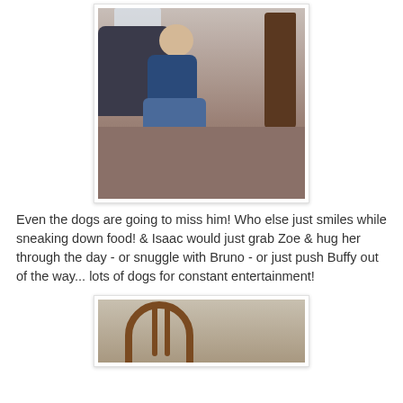[Figure (photo): A toddler in a blue shirt sitting on a brown carpet looking toward a girl with long brown hair, with an adult in dark jeans visible in the background near a window.]
Even the dogs are going to miss him! Who else just smiles while sneaking down food! & Isaac would just grab Zoe & hug her through the day - or snuggle with Bruno - or just push Buffy out of the way... lots of dogs for constant entertainment!
[Figure (photo): Partial view of a wooden chair back with spindles, with what appears to be a light-colored animal or object in the lower portion of the image.]